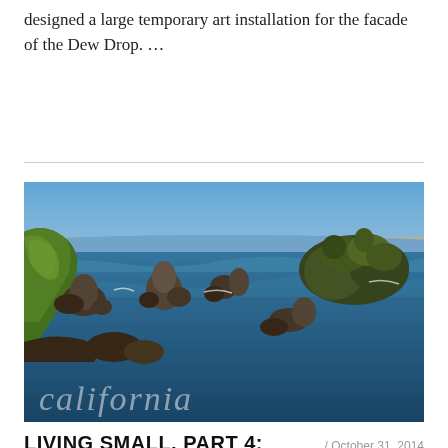designed a large temporary art installation for the facade of the Dew Drop. …
Continue reading
[Figure (photo): Coastal California seascape showing rocky sea stacks in blue-green ocean water, green grassy cliffs on the left, and a sandy beach in the background under a clear blue sky. Text 'california' watermarked at the bottom left.]
LIVING SMALL, PART 4:
October 31, 2014